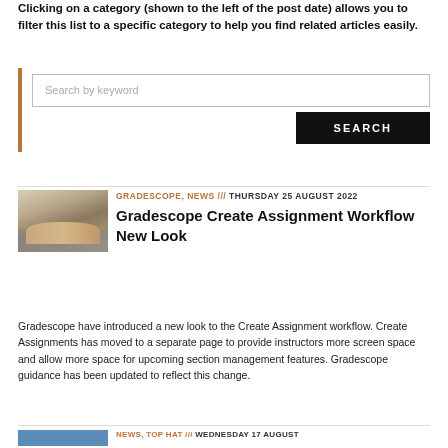Clicking on a category (shown to the left of the post date) allows you to filter this list to a specific category to help you find related articles easily.
[Figure (screenshot): Search by keyword input field with a SEARCH button on the right, inside a left-bordered container]
GRADESCOPE, NEWS /// THURSDAY 25 AUGUST 2022
[Figure (photo): Hands typing on a laptop keyboard]
Gradescope Create Assignment Workflow New Look
Gradescope have introduced a new look to the Create Assignment workflow. Create Assignments has moved to a separate page to provide instructors more screen space and allow more space for upcoming section management features. Gradescope guidance has been updated to reflect this change.
NEWS, TOP HAT /// WEDNESDAY 17 AUGUST